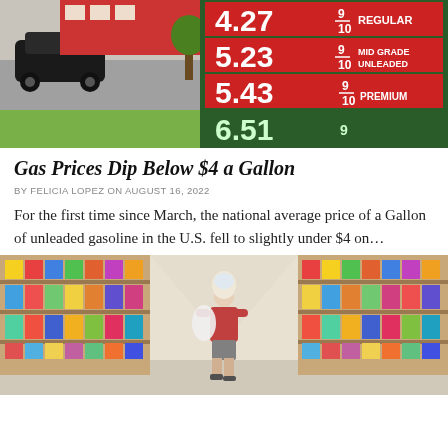[Figure (photo): Gas station price sign showing prices: Regular 4.27 9/10, Mid Grade Unleaded 5.23 9/10, Premium 5.43 9/10, and 6.51 9 at the bottom. A black car and green grass visible on the left side.]
Gas Prices Dip Below $4 a Gallon
BY FELICIA LOPEZ ON AUGUST 16, 2022
For the first time since March, the national average price of a Gallon of unleaded gasoline in the U.S. fell to slightly under $4 on…
[Figure (photo): Person shopping in a grocery store aisle, surrounded by colorful product-filled shelves on both sides. The shopper appears to be carrying a large bag and reaching for an item.]